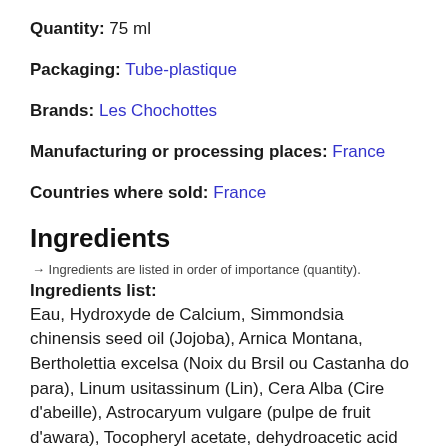Quantity: 75 ml
Packaging: Tube-plastique
Brands: Les Chochottes
Manufacturing or processing places: France
Countries where sold: France
Ingredients
→ Ingredients are listed in order of importance (quantity).
Ingredients list:
Eau, Hydroxyde de Calcium, Simmondsia chinensis seed oil (Jojoba), Arnica Montana, Bertholettia excelsa (Noix du Brsil ou Castanha do para), Linum usitassinum (Lin), Cera Alba (Cire d'abeille), Astrocaryum vulgare (pulpe de fruit d'awara), Tocopheryl acetate, dehydroacetic acid (DHA),